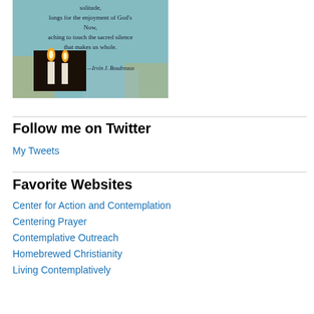[Figure (illustration): An inspirational quote image with a teal/blue textured background featuring candles and text reading: 'solitude, longs for the enjoyment of God's Now, aching to touch the sacred silence that makes us whole. —Irvin J. Boudreaux']
Follow me on Twitter
My Tweets
Favorite Websites
Center for Action and Contemplation
Centering Prayer
Contemplative Outreach
Homebrewed Christianity
Living Contemplatively